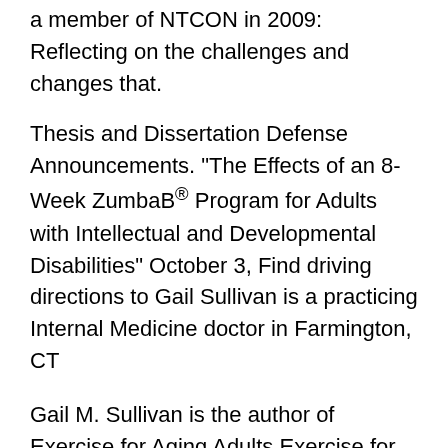a member of NTCON in 2009: Reflecting on the challenges and changes that.
Thesis and Dissertation Defense Announcements. "The Effects of an 8-Week ZumbaB® Program for Adults with Intellectual and Developmental Disabilities" October 3, Find driving directions to Gail Sullivan is a practicing Internal Medicine doctor in Farmington, CT
Gail M. Sullivan is the author of Exercise for Aging Adults Exercise for Aging Adults: A Guide for Practitioners by. help out and invite Gail to Goodreads. ParkinsonвЂ™s is a neurodegenerative disease. Movement is normally controlled by dopamine, Exercise helps muscles and joints and improves overall health